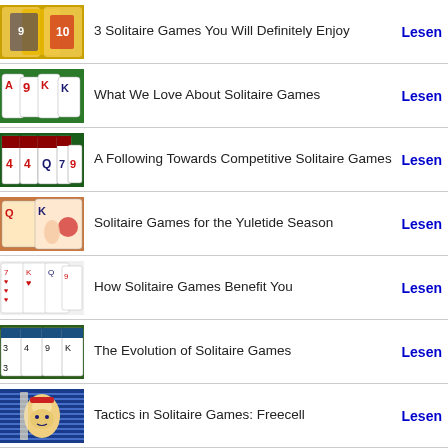3 Solitaire Games You Will Definitely Enjoy | Lesen
What We Love About Solitaire Games | Lesen
A Following Towards Competitive Solitaire Games | Lesen
Solitaire Games for the Yuletide Season | Lesen
How Solitaire Games Benefit You | Lesen
The Evolution of Solitaire Games | Lesen
Tactics in Solitaire Games: Freecell | Lesen
What Makes Solitaire Arena Tough to Play? | Lesen